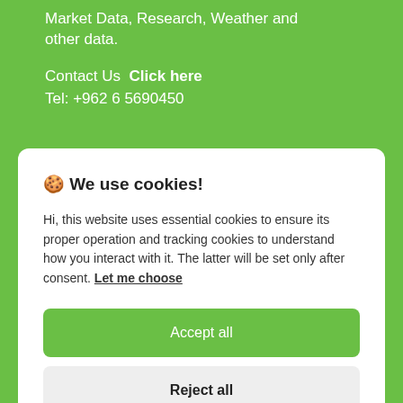Market Data, Research, Weather and other data.
Contact Us  Click here
Tel: +962 6 5690450
🍪 We use cookies!
Hi, this website uses essential cookies to ensure its proper operation and tracking cookies to understand how you interact with it. The latter will be set only after consent. Let me choose
Accept all
Reject all